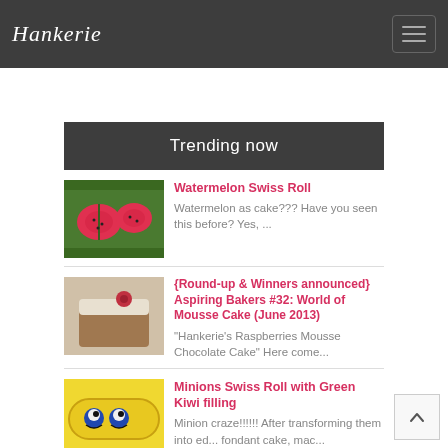Hankerie
Trending now
[Figure (photo): Watermelon Swiss Roll cake slices showing green and red layered cake]
Watermelon Swiss Roll
Watermelon as cake??? Have you seen this before? Yes, ...
[Figure (photo): Raspberry Mousse Chocolate Cake with white frosting and red berry on top]
{Round-up & Winners announced} Aspiring Bakers #32: World of Mousse Cake (June 2013)
"Hankerie's Raspberries Mousse Chocolate Cake" Here come...
[Figure (photo): Minions Swiss Roll cake with yellow and blue minion face design]
Minions Swiss Roll with Green Kiwi filling
Minion craze!!!!!! After transforming them into ed... fondant cake, mac...